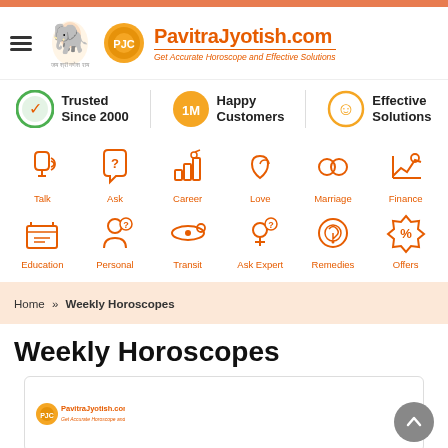PavitraJyotish.com - Get Accurate Horoscope and Effective Solutions
Trusted Since 2000 | Happy Customers 1M | Effective Solutions
[Figure (infographic): Navigation icons grid: Talk, Ask, Career, Love, Marriage, Finance (row 1); Education, Personal, Transit, Ask Expert, Remedies, Offers (row 2)]
Home » Weekly Horoscopes
Weekly Horoscopes
[Figure (logo): PavitraJyotish.com logo at bottom of page with partial calendar image]